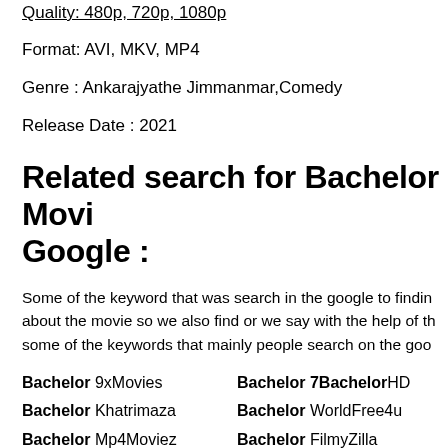Quality: 480p, 720p, 1080p
Format: AVI, MKV, MP4
Genre : Ankarajyathe Jimmanmar,Comedy
Release Date : 2021
Related search for Bachelor Movie on Google :
Some of the keyword that was search in the google to finding about the movie so we also find or we say with the help of the some of the keywords that mainly people search on the goo
Bachelor 9xMovies   Bachelor 7BachelorHD   Bachelor
Bachelor Khatrimaza   Bachelor WorldFree4u   Bachelor
Bachelor Mp4Moviez   Bachelor FilmyZilla   Bachelor
Bachelor JioRockers   Bachelor UWatchFree   Bachelor
Bachelor MovieRulz   Bachelor MovieVerse   Bachelor